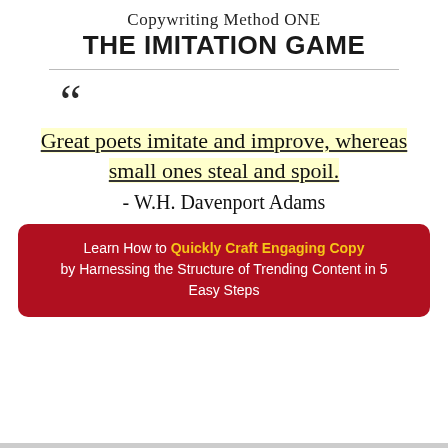Copywriting Method ONE
THE IMITATION GAME
“Great poets imitate and improve, whereas small ones steal and spoil.” - W.H. Davenport Adams
Learn How to Quickly Craft Engaging Copy by Harnessing the Structure of Trending Content in 5 Easy Steps